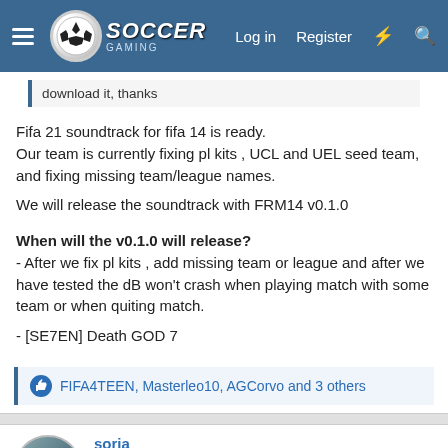Soccer Gaming – Log in | Register
download it, thanks
Fifa 21 soundtrack for fifa 14 is ready.
Our team is currently fixing pl kits , UCL and UEL seed team, and fixing missing team/league names.

We will release the soundtrack with FRM14 v0.1.0

When will the v0.1.0 will release?
- After we fix pl kits , add missing team or league and after we have tested the dB won't crash when playing match with some team or when quiting match.

- [SE7EN] Death GOD 7
FIFA4TEEN, Masterleo10, AGCorvo and 3 others
soria
Youth Team